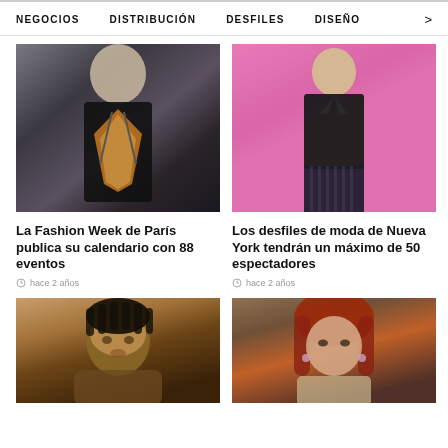NEGOCIOS   DISTRIBUCIÓN   DESFILES   DISEÑO   >
[Figure (photo): Fashion model on runway wearing dark sleeveless dress with brown/gold geometric panel design]
La Fashion Week de París publica su calendario con 88 eventos
hace 2 años
[Figure (photo): Fashion model on pink background wearing black leather jacket and dark striped wide-leg pants]
Los desfiles de moda de Nueva York tendrán un máximo de 50 espectadores
hace 2 años
[Figure (photo): Close-up portrait of young Black man with dreadlocks]
[Figure (photo): Close-up portrait of young woman with red hair wearing earrings, fur coat]